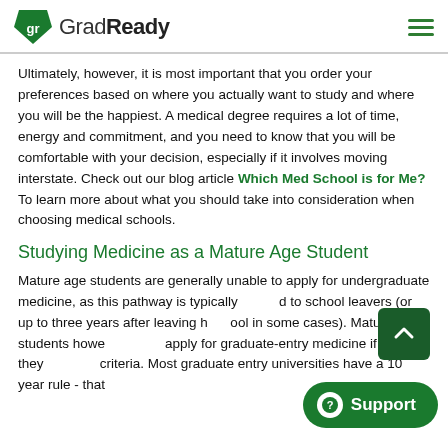GradReady
Ultimately, however, it is most important that you order your preferences based on where you actually want to study and where you will be the happiest. A medical degree requires a lot of time, energy and commitment, and you need to know that you will be comfortable with your decision, especially if it involves moving interstate. Check out our blog article Which Med School is for Me? To learn more about what you should take into consideration when choosing medical schools.
Studying Medicine as a Mature Age Student
Mature age students are generally unable to apply for undergraduate medicine, as this pathway is typically limited to school leavers (or up to three years after leaving high school in some cases). Mature age students however, may be able to apply for graduate-entry medicine if they meet the entry criteria. Most graduate entry universities have a 10 year rule - that